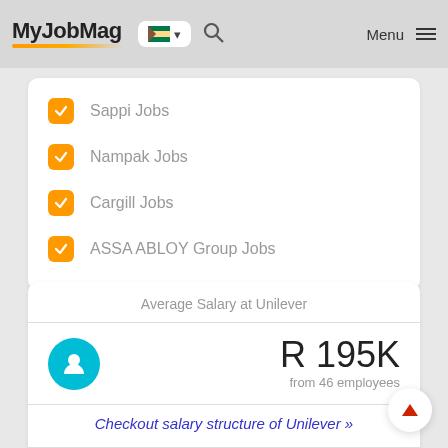MyJobMag
Sappi Jobs
Nampak Jobs
Cargill Jobs
ASSA ABLOY Group Jobs
Average Salary at Unilever
R 195K
from 46 employees
Checkout salary structure of Unilever »
MYSALARYSCALE.COM